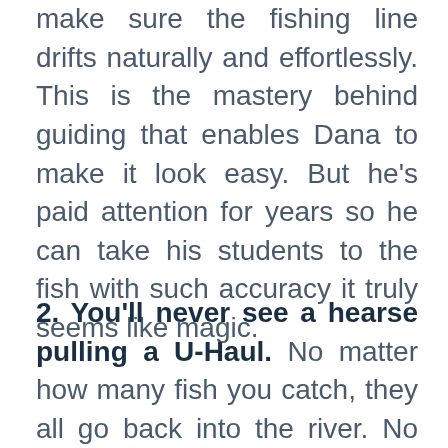make sure the fishing line drifts naturally and effortlessly. This is the mastery behind guiding that enables Dana to make it look easy. But he's paid attention for years so he can take his students to the fish with such accuracy it truly seems like magic.
2. You'll never see a hearse pulling a U-Haul. No matter how many fish you catch, they all go back into the river. No matter what you accumulate, accomplish, or achieve in life, it all goes back into the river of life when it's over. All that ever truly counts in life is the experience you have, the person you become, and the